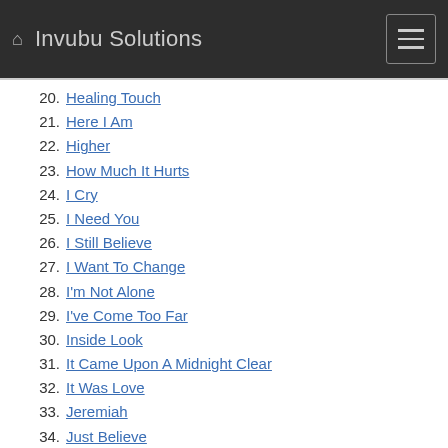Invubu Solutions
20. Healing Touch
21. Here I Am
22. Higher
23. How Much It Hurts
24. I Cry
25. I Need You
26. I Still Believe
27. I Want To Change
28. I'm Not Alone
29. I've Come Too Far
30. Inside Look
31. It Came Upon A Midnight Clear
32. It Was Love
33. Jeremiah
34. Just Believe
35. Kathryn's Song
36. Let It Snow, Let It Snow
37. Life's Railway To Heaven